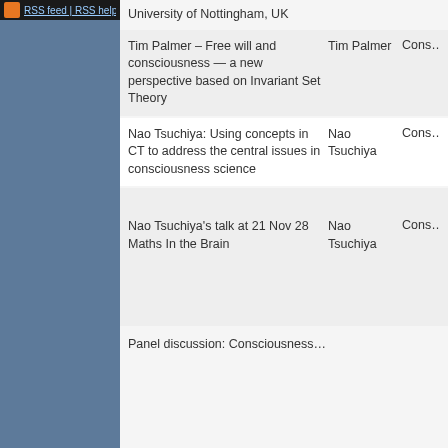RSS feed | RSS help
University of Nottingham, UK
| Title | Author | Category |
| --- | --- | --- |
| Tim Palmer – Free will and consciousness — a new perspective based on Invariant Set Theory | Tim Palmer | Cons… |
| Nao Tsuchiya: Using concepts in CT to address the central issues in consciousness science | Nao Tsuchiya | Cons… |
| Nao Tsuchiya's talk at 21 Nov 28 Maths In the Brain | Nao Tsuchiya | Cons… |
| Panel discussion: Consciousness… |  |  |